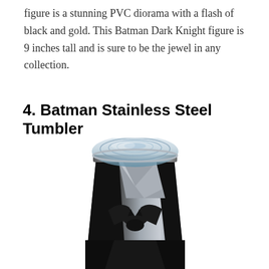figure is a stunning PVC diorama with a flash of black and gold. This Batman Dark Knight figure is 9 inches tall and is sure to be the jewel in any collection.
4. Batman Stainless Steel Tumbler
[Figure (photo): A Batman-themed stainless steel tumbler with a clear plastic lid. The tumbler features a geometric Batman logo design in black and silver/grey tones on the body.]